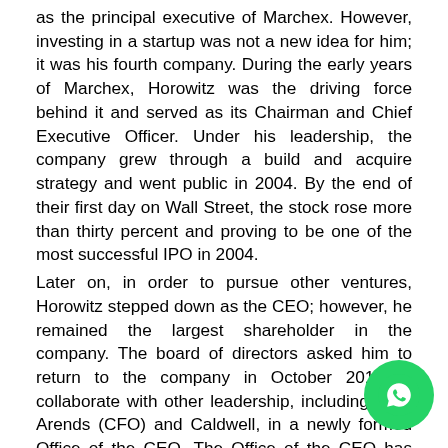as the principal executive of Marchex. However, investing in a startup was not a new idea for him; it was his fourth company. During the early years of Marchex, Horowitz was the driving force behind it and served as its Chairman and Chief Executive Officer. Under his leadership, the company grew through a build and acquire strategy and went public in 2004. By the end of their first day on Wall Street, the stock rose more than thirty percent and proving to be one of the most successful IPO in 2004.
Later on, in order to pursue other ventures, Horowitz stepped down as the CEO; however, he remained the largest shareholder in the company. The board of directors asked him to return to the company in October 2016 to collaborate with other leadership, including Mike Arends (CFO) and Caldwell, in a newly formed Office of the CEO. The Office of the CEO has been busy in 2017, guiding the company through several new product launches, establishing key partnerships with top tier integration